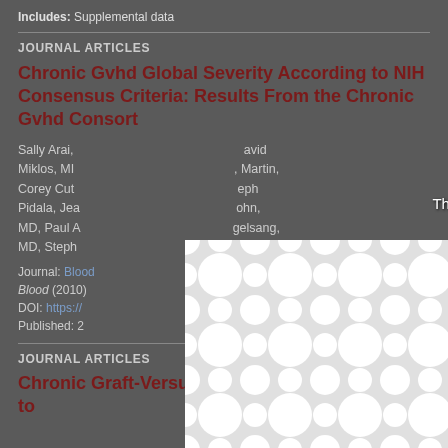Includes: Supplemental data
JOURNAL ARTICLES
Chronic Gvhd Global Severity According to NIH Consensus Criteria: Results From the Chronic Gvhd Consortium
Sally Arai, ... David Miklos, MD ... Martin, Corey Cut... Joseph Pidala, Jea... John, MD, Paul A... ngelsang, MD, Steph...
Journal: Blood
Blood (2010)
DOI: https://...
Published: 2...
JOURNAL ARTICLES
Chronic Graft-Versus-Host Disease Responds to